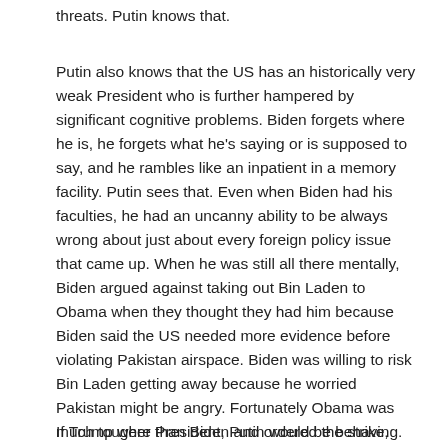threats. Putin knows that.
Putin also knows that the US has an historically very weak President who is further hampered by significant cognitive problems. Biden forgets where he is, he forgets what he's saying or is supposed to say, and he rambles like an inpatient in a memory facility. Putin sees that. Even when Biden had his faculties, he had an uncanny ability to be always wrong about just about every foreign policy issue that came up. When he was still all there mentally, Biden argued against taking out Bin Laden to Obama when they thought they had him because Biden said the US needed more evidence before violating Pakistan airspace. Biden was willing to risk Bin Laden getting away because he worried Pakistan might be angry. Fortunately Obama was much tougher than Biden and ordered the strike, taking out Bin Laden. You think Putin respects such a man as Biden or fears his empty threats?
If Trump were President, Putin would be behaving. Putin is